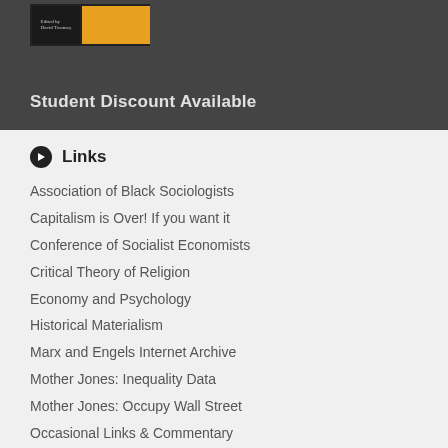[Figure (illustration): Book cover thumbnail image with dark background and orange stripe]
Student Discount Available
Links
Association of Black Sociologists
Capitalism is Over! If you want it
Conference of Socialist Economists
Critical Theory of Religion
Economy and Psychology
Historical Materialism
Marx and Engels Internet Archive
Mother Jones: Inequality Data
Mother Jones: Occupy Wall Street
Occasional Links & Commentary
Occupy Wall Street
Professor Richard Wolff
Raewyn Connell
Society for the Study of Social Problems